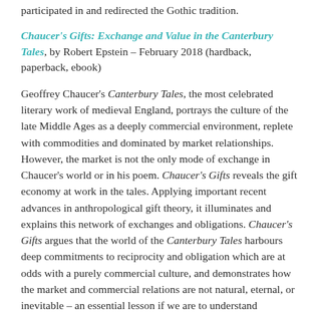participated in and redirected the Gothic tradition.
Chaucer's Gifts: Exchange and Value in the Canterbury Tales, by Robert Epstein – February 2018 (hardback, paperback, ebook)
Geoffrey Chaucer's Canterbury Tales, the most celebrated literary work of medieval England, portrays the culture of the late Middle Ages as a deeply commercial environment, replete with commodities and dominated by market relationships. However, the market is not the only mode of exchange in Chaucer's world or in his poem. Chaucer's Gifts reveals the gift economy at work in the tales. Applying important recent advances in anthropological gift theory, it illuminates and explains this network of exchanges and obligations. Chaucer's Gifts argues that the world of the Canterbury Tales harbours deep commitments to reciprocity and obligation which are at odds with a purely commercial culture, and demonstrates how the market and commercial relations are not natural, eternal, or inevitable – an essential lesson if we are to understand Chaucer's world or our own.